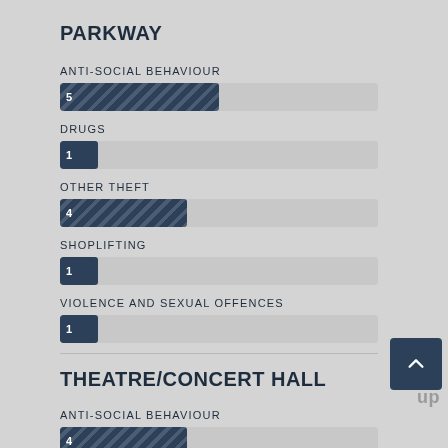PARKWAY
ANTI-SOCIAL BEHAVIOUR
[Figure (bar-chart): Anti-Social Behaviour - Parkway]
DRUGS
[Figure (bar-chart): Drugs - Parkway]
OTHER THEFT
[Figure (bar-chart): Other Theft - Parkway]
SHOPLIFTING
[Figure (bar-chart): Shoplifting - Parkway]
VIOLENCE AND SEXUAL OFFENCES
[Figure (bar-chart): Violence and Sexual Offences - Parkway]
THEATRE/CONCERT HALL
ANTI-SOCIAL BEHAVIOUR
[Figure (bar-chart): Anti-Social Behaviour - Theatre/Concert Hall]
BICYCLE THEFT